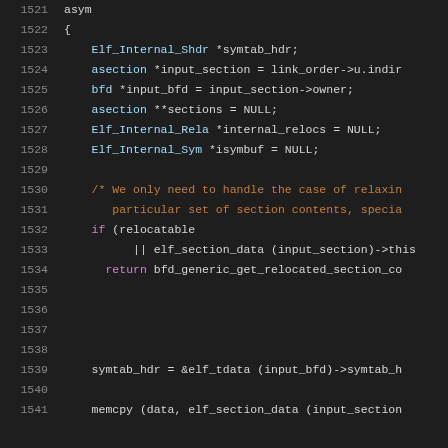Source code listing, lines 1521–1541, C programming language
1521: asym
1522: {
1523:     Elf_Internal_Shdr *symtab_hdr;
1524:     asection *input_section = link_order->u.indir
1525:     bfd *input_bfd = input_section->owner;
1526:     asection **sections = NULL;
1527:     Elf_Internal_Rela *internal_relocs = NULL;
1528:     Elf_Internal_Sym *isymbuf = NULL;
1529: (blank)
1530:     /* We only need to handle the case of relaxin
1531:         particular set of section contents, specia
1532:     if (relocatable
1533:             || elf_section_data (input_section)->this
1534:         return bfd_generic_get_relocated_section_co
1535–1538: (blank)
1539:     symtab_hdr = &elf_tdata (input_bfd)->symtab_h
1540: (blank)
1541:     memcpy (data, elf_section_data (input_section